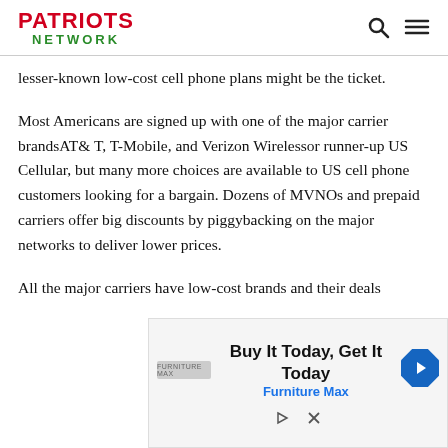PATRIOTS NETWORK
lesser-known low-cost cell phone plans might be the ticket.
Most Americans are signed up with one of the major carrier brandsAT& T, T-Mobile, and Verizon Wirelessor runner-up US Cellular, but many more choices are available to US cell phone customers looking for a bargain. Dozens of MVNOs and prepaid carriers offer big discounts by piggybacking on the major networks to deliver lower prices.
All the major carriers have low-cost brands and their deals
[Figure (other): Advertisement banner: 'Buy It Today, Get It Today' - Furniture Max, with a blue navigation arrow icon and Furniture Max logo. Contains play and close controls.]